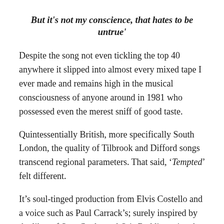But it's not my conscience, that hates to be untrue'
Despite the song not even tickling the top 40 anywhere it slipped into almost every mixed tape I ever made and remains high in the musical consciousness of anyone around in 1981 who possessed even the merest sniff of good taste.
Quintessentially British, more specifically South London, the quality of Tilbrook and Difford songs transcend regional parameters. That said, ‘Tempted’ felt different.
It’s soul-tinged production from Elvis Costello and a voice such as Paul Carrack’s; surely inspired by the likes of Sam Cooke and Otis Redding, give the song more of a universal reach which help explain why it has grown and reached further down the years. But then great songs have a habit of doing just that.